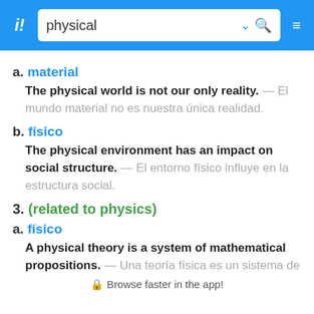[Figure (screenshot): App header bar with logo, search box containing 'physical', chevron, search icon, and menu icon]
a. material
The physical world is not our only reality. — El mundo material no es nuestra única realidad.
b. físico
The physical environment has an impact on social structure. — El entorno físico influye en la estructura social.
3. (related to physics)
a. físico
A physical theory is a system of mathematical propositions. — Una teoría física es un sistema de
🔒 Browse faster in the app!